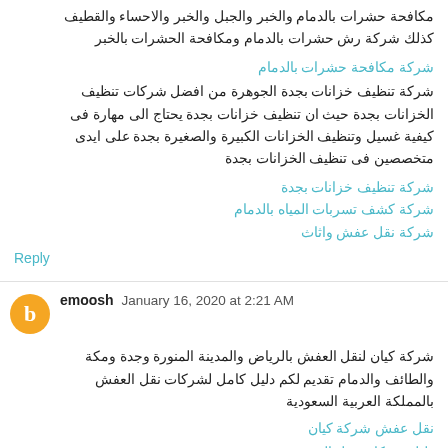مكافحة حشرات بالدمام والخبر والجبل والخبر والاحساء والقطيف كذلك شركة رش حشرات بالدمام ومكافحة الحشرات بالخبر
شركة مكافحة حشرات بالدمام
شركة تنظيف خزانات بجدة الجوهرة من افضل شركات تنظيف الخزانات بجدة حيث ان تنظيف خزانات بجدة يحتاج الى مهارة فى كيفية غسيل وتنظيف الخزانات الكبيرة والصغيرة بجدة على ايدى متخصصين فى تنظيف الخزانات بجدة
شركة تنظيف خزانات بجدة
شركة كشف تسربات المياه بالدمام
شركة نقل عفش واثاث
Reply
emoosh January 16, 2020 at 2:21 AM
شركة كيان لنقل العفش بالرياض والمدينة المنورة وجدة ومكة والطائف والدمام تقديم لكم دليل كامل لشركات نقل العفش بالمملكة العربية السعودية
نقل عفش شركة كيان
دليل شركات نقل العفش
شركة نقل عفش بالمدينة المنورة
شركة نقل اثاث بالرياض